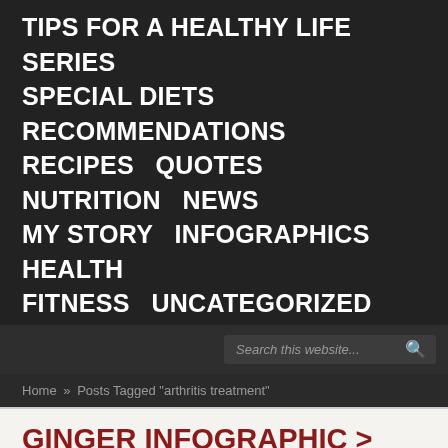TIPS FOR A HEALTHY LIFE SERIES  SPECIAL DIETS  RECOMMENDATIONS  RECIPES  QUOTES  NUTRITION  NEWS  MY STORY  INFOGRAPHICS  HEALTH  FITNESS  UNCATEGORIZED
Search this website...
Home » Posts Tagged "arthritis treatment"
GINGER INFOGRAPHIC > JUST ADD GINGER! HERE'S A LOOK AT GINGER NUTRITION
Here's our second infographic in our INFOGRAPHICS SERIES on Just...